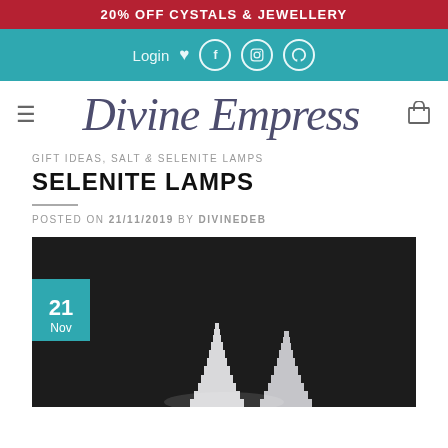20% OFF CYSTALS & JEWELLERY
[Figure (screenshot): Navigation bar with teal background showing Login, heart icon, Facebook, Instagram, Pinterest social icons]
[Figure (logo): Divine Empress script logo with hamburger menu on left and cart icon on right]
GIFT IDEAS, SALT & SELENITE LAMPS
SELENITE LAMPS
POSTED ON 21/11/2019 BY DIVINEDEB
[Figure (photo): Photo of two white selenite tower lamps on dark background with teal date badge showing 21 Nov]